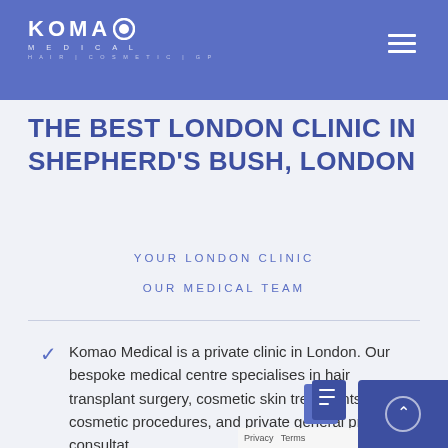KOMAO MEDICAL HAIR | COSMETIC | GP
THE BEST LONDON CLINIC IN SHEPHERD'S BUSH, LONDON
YOUR LONDON CLINIC
OUR MEDICAL TEAM
Komao Medical is a private clinic in London. Our bespoke medical centre specialises in hair transplant surgery, cosmetic skin treatments, cosmetic procedures, and private general practice consultat
All treatments are carried out by trained